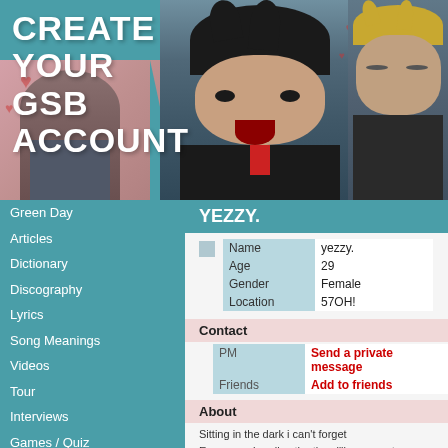CREATE YOUR GSB ACCOUNT
[Figure (photo): Banner with Green Day band members against teal background with hearts decoration. Left: partial view of band member, Center: lead singer with open mouth, Right: blonde member with eyes closed.]
Green Day
Articles
Dictionary
Discography
Lyrics
Song Meanings
Videos
Tour
Interviews
Games / Quiz
Wallpapers
Stories
Fan art
Memberlist
Blogs
Templates
Message board
YEZZY.
|  |  |
| --- | --- |
| Name | yezzy. |
| Age | 29 |
| Gender | Female |
| Location | 57OH! |
Contact
|  |  |
| --- | --- |
| PM | Send a private message |
| Friends | Add to friends |
About
Sitting in the dark i can't forget
Even now, I realize the time i'll never get